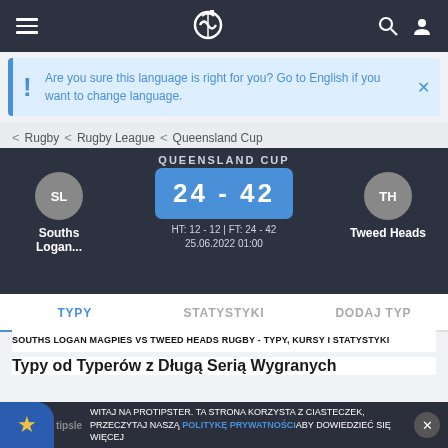Navigation bar with hamburger menu, logo, search and user icons
Are you sure this language is right for you? Go to English if you want to change language.
< Rugby < Rugby League < Queensland Cup
QUEENSLAND CUP
24 - 42
HT: 12 - 12 | FT: 24 - 42
25.06.2022 01:00
Souths Logan...
Tweed Heads
TYPY  STATYSTYKI  DODAJ TYP
SOUTHS LOGAN MAGPIES VS TWEED HEADS RUGBY - TYPY, KURSY I STATYSTYKI
Typy od Typerów z Długą Serią Wygranych
WITAJ NA PROTIPSTER. TA STRONA KORZYSTA Z CIASTECZEK, PRZECZYTAJ NASZĄ POLITYKĘ PRYWATNOŚCI ABY DOWIEDZIEĆ SIĘ WIĘCEJ